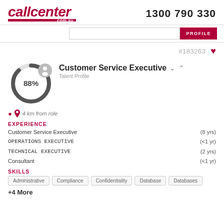[Figure (logo): callcenter.com.au logo in dark red/crimson with italic bold text and red bar beneath]
1300 790 330
[Figure (screenshot): Navigation bar with search input and red PROFILE button]
#183263
[Figure (donut-chart): Donut chart showing 88% completion with grey ring]
Customer Service Executive
Talent Profile
4 km from role
EXPERIENCE
Customer Service Executive (8 yrs)
OPERATIONS EXECUTIVE (<1 yr)
TECHNICAL EXECUTIVE (2 yrs)
Consultant (<1 yr)
SKILLS
Administrative
Compliance
Confidentiality
Database
Databases
+4 More